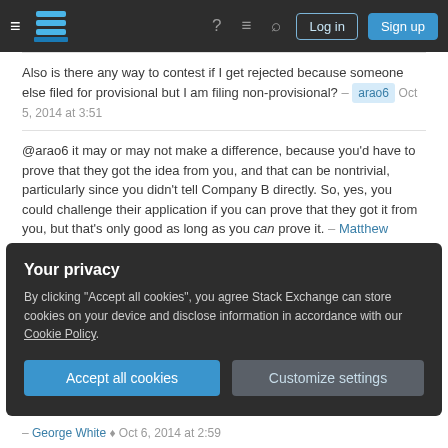Stack Exchange navigation bar with hamburger menu, logo, help, chat, search icons, Log in and Sign up buttons
Also is there any way to contest if I get rejected because someone else filed for provisional but I am filing non-provisional? – arao6 Oct 5, 2014 at 3:51
@arao6 it may or may not make a difference, because you'd have to prove that they got the idea from you, and that can be nontrivial, particularly since you didn't tell Company B directly. So, yes, you could challenge their application if you can prove that they got it from you, but that's only good as long as you can prove it. – Matthew Haugen Oct 5, 2014 at 4:11
1  For something to be prior art in relation to particular
Your privacy
By clicking "Accept all cookies", you agree Stack Exchange can store cookies on your device and disclose information in accordance with our Cookie Policy.
Accept all cookies   Customize settings
– George White ♦ Oct 6, 2014 at 2:59